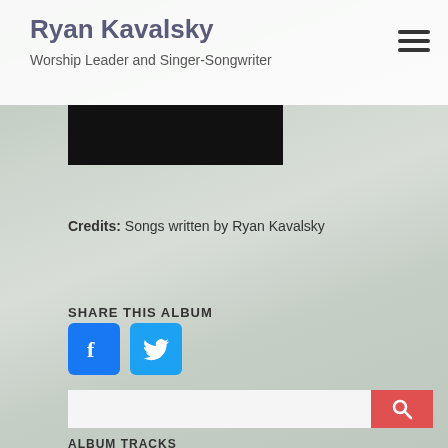Ryan Kavalsky
Worship Leader and Singer-Songwriter
[Figure (photo): Black album cover image below header]
Credits: Songs written by Ryan Kavalsky
SHARE THIS ALBUM
[Figure (illustration): Facebook and Twitter share icon buttons (blue square icons)]
[Figure (screenshot): Search input bar with red search button containing magnifying glass icon]
ALBUM TRACKS
BEYOND